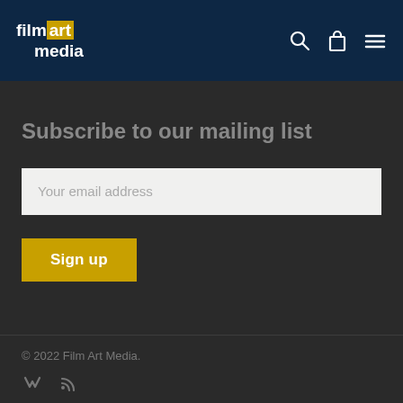film art media — navigation header with search, cart, and menu icons
Subscribe to our mailing list
Your email address
Sign up
© 2022 Film Art Media.